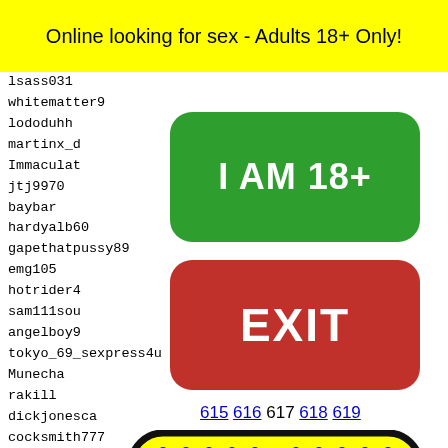Online looking for sex - Adults 18+ Only!
lsass031
whitematter9
lododuhh
martinx_d
Immaculat
jtj9970
baybar
hardyalb60
gapethatpussy89
emg105
hotrider4
sam111sou
angelboy9
tokyo_69_sexpress4u
Munecha
rakill
dickjonesca
cocksmith777
floridagreedo
LAngelina13
trotte
evilwa
doc_la
colleg
Isthis
poetry
[Figure (other): Green button reading I AM 18+]
[Figure (other): Red button reading EXIT]
615 616 617 618 619
[Figure (illustration): Yellow rounded rectangle with black dots pattern and a small frog/green character at bottom center, resembling a Snapchat ghost logo variant]